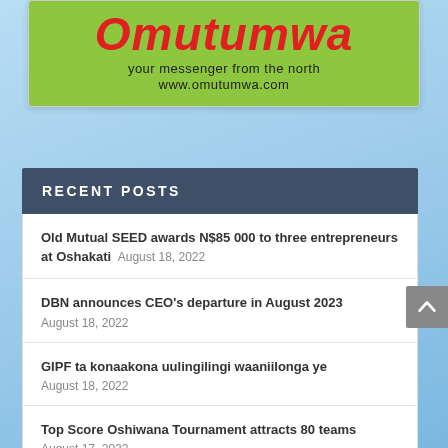[Figure (logo): Omutumwa newspaper logo on green background with tagline 'your messenger from the north' and website www.omutumwa.com]
RECENT POSTS
Old Mutual SEED awards N$85 000 to three entrepreneurs at Oshakati August 18, 2022
DBN announces CEO's departure in August 2023 August 18, 2022
GIPF ta konaakona uulingilingi waaniilonga ye August 18, 2022
Top Score Oshiwana Tournament attracts 80 teams August 17, 2022